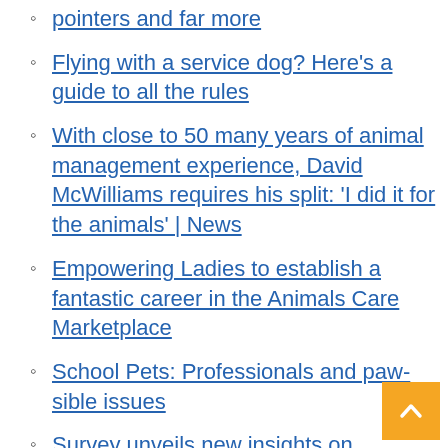pointers and far more
Flying with a service dog? Here's a guide to all the rules
With close to 50 many years of animal management experience, David McWilliams requires his split: 'I did it for the animals' | News
Empowering Ladies to establish a fantastic career in the Animals Care Marketplace
School Pets: Professionals and paw-sible issues
Survey unveils new insights on expressing goodbye to pets